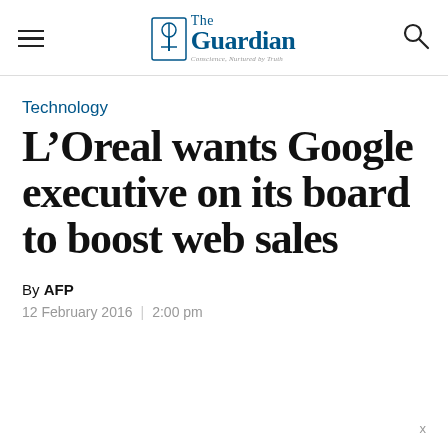The Guardian — Conscience, Nurtured by Truth
Technology
L’Oreal wants Google executive on its board to boost web sales
By AFP
12 February 2016  |  2:00 pm